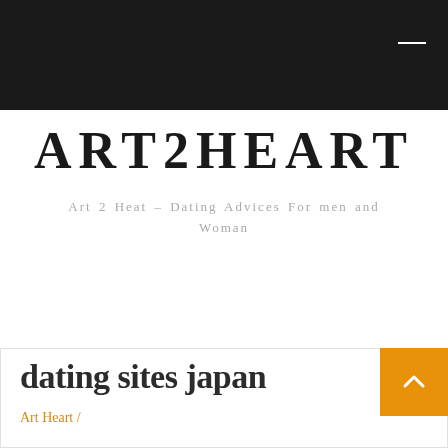ART2HEART navigation bar
ART2HEART
Art 2 Heat – Dating Advices For men and Woman
dating sites japan
Art Heart /